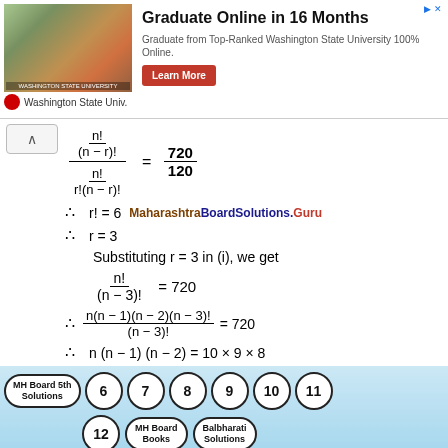[Figure (other): Advertisement banner: Washington State University Graduate Online in 16 Months with Learn More button]
Substituting r = 3 in (i), we get
MH Board 5th Solutions | 6 | 7 | 8 | 9 | 10 | 11 | 12 | MH Board Books | Balbharati Solutions